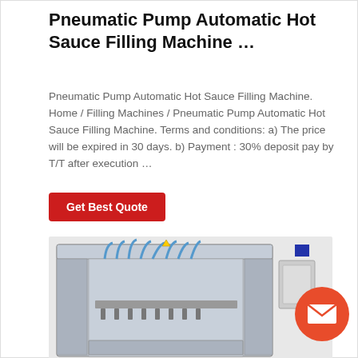Pneumatic Pump Automatic Hot Sauce Filling Machine …
Pneumatic Pump Automatic Hot Sauce Filling Machine. Home / Filling Machines / Pneumatic Pump Automatic Hot Sauce Filling Machine. Terms and conditions: a) The price will be expired in 30 days. b) Payment : 30% deposit pay by T/T after execution …
[Figure (other): Red 'Get Best Quote' button]
[Figure (photo): Industrial automatic hot sauce filling machine with pneumatic pump system, multiple filling nozzles with blue tubes, stainless steel frame and control panel on right side]
[Figure (other): Orange circular email/chat button with envelope icon in bottom right corner]